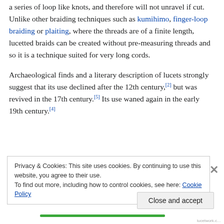a series of loop like knots, and therefore will not unravel if cut. Unlike other braiding techniques such as kumihimo, finger-loop braiding or plaiting, where the threads are of a finite length, lucetted braids can be created without pre-measuring threads and so it is a technique suited for very long cords.
Archaeological finds and a literary description of lucets strongly suggest that its use declined after the 12th century,[2] but was revived in the 17th century.[5] Its use waned again in the early 19th century.[4]
Privacy & Cookies: This site uses cookies. By continuing to use this website, you agree to their use. To find out more, including how to control cookies, see here: Cookie Policy